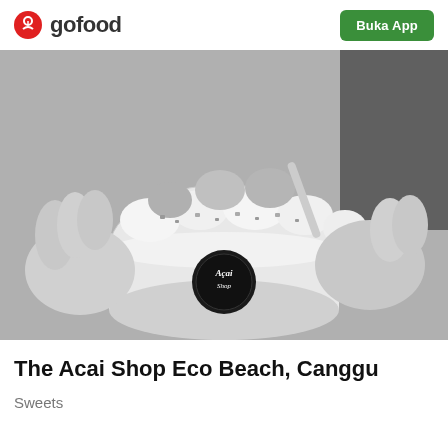gofood
[Figure (photo): Black and white photo of a person holding an acai bowl with toppings, branded with The Acai Shop logo on the cup]
The Acai Shop Eco Beach, Canggu
Sweets